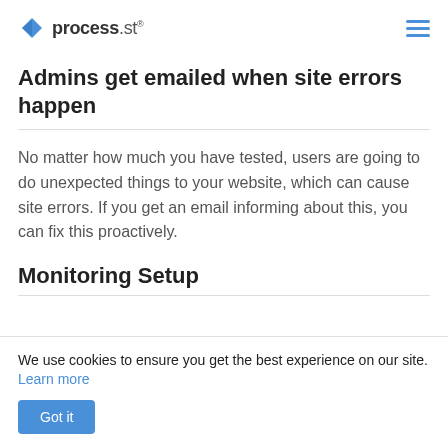process.st
Admins get emailed when site errors happen
No matter how much you have tested, users are going to do unexpected things to your website, which can cause site errors. If you get an email informing about this, you can fix this proactively.
Monitoring Setup
We use cookies to ensure you get the best experience on our site. Learn more